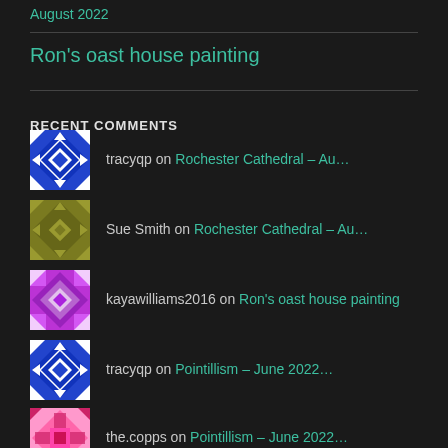August 2022
Ron's oast house painting
RECENT COMMENTS
tracyqp on Rochester Cathedral – Au…
Sue Smith on Rochester Cathedral – Au…
kayawilliams2016 on Ron's oast house painting
tracyqp on Pointillism – June 2022…
the.copps on Pointillism – June 2022…